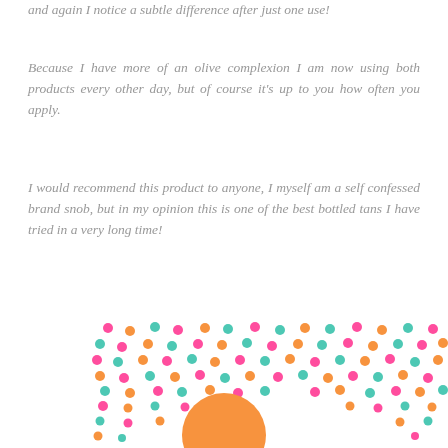and again I notice a subtle difference after just one use!
Because I have more of an olive complexion I am now using both products every other day, but of course it's up to you how often you apply.
I would recommend this product to anyone, I myself am a self confessed brand snob, but in my opinion this is one of the best bottled tans I have tried in a very long time!
[Figure (illustration): Decorative pattern of multicolored dots (pink, orange, teal) arranged in a scattered pattern, with a large orange circle in the lower center and partial pink text visible at the very bottom.]